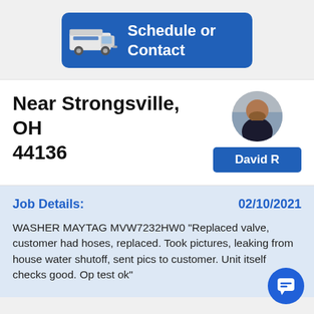[Figure (illustration): Blue 'Schedule or Contact' button with a service van icon on the left and white bold text on the right]
Near Strongsville, OH 44136
[Figure (photo): Circular profile photo of a man in a dark shirt]
David R
Job Details:
02/10/2021
WASHER MAYTAG MVW7232HW0 "Replaced valve, customer had hoses, replaced. Took pictures, leaking from house water shutoff, sent pics to customer. Unit itself checks good. Op test ok"
[Figure (illustration): Blue circular chat/message bubble icon in bottom right corner]